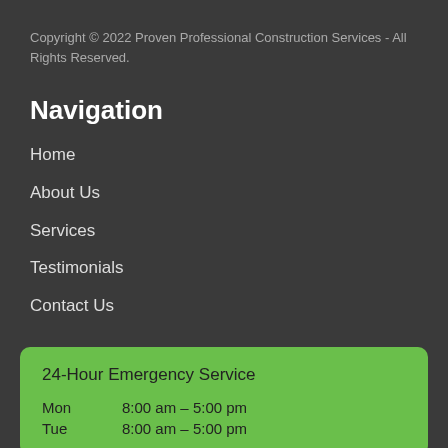Copyright © 2022 Proven Professional Construction Services - All Rights Reserved.
Navigation
Home
About Us
Services
Testimonials
Contact Us
24-Hour Emergency Service
Mon    8:00 am – 5:00 pm
Tue    8:00 am – 5:00 pm